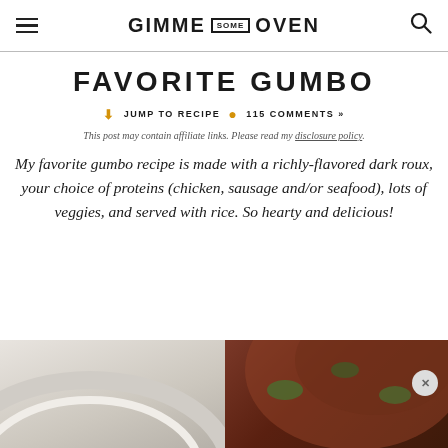GIMME SOME OVEN
FAVORITE GUMBO
↓ JUMP TO RECIPE  • 115 COMMENTS »
This post may contain affiliate links. Please read my disclosure policy.
My favorite gumbo recipe is made with a richly-flavored dark roux, your choice of proteins (chicken, sausage and/or seafood), lots of veggies, and served with rice. So hearty and delicious!
[Figure (photo): Two partial food photos at bottom of page: left shows a white bowl/plate, right shows a bowl of gumbo with vegetables in a dark broth]